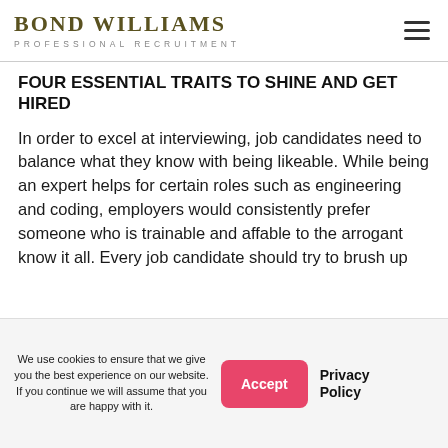BOND WILLIAMS PROFESSIONAL RECRUITMENT
FOUR ESSENTIAL TRAITS TO SHINE AND GET HIRED
In order to excel at interviewing, job candidates need to balance what they know with being likeable. While being an expert helps for certain roles such as engineering and coding, employers would consistently prefer someone who is trainable and affable to the arrogant know it all. Every job candidate should try to brush up
We use cookies to ensure that we give you the best experience on our website. If you continue we will assume that you are happy with it.
Accept
Privacy Policy